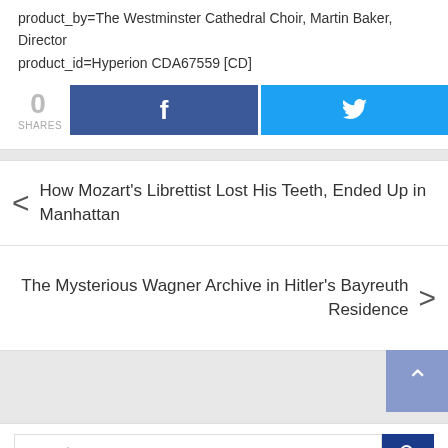product_by=The Westminster Cathedral Choir, Martin Baker, Director
product_id=Hyperion CDA67559 [CD]
0 SHARES
[Figure (screenshot): Facebook share button (blue) and Twitter share button (cyan) side by side]
How Mozart’s Librettist Lost His Teeth, Ended Up in Manhattan
The Mysterious Wagner Archive in Hitler's Bayreuth Residence
[Figure (screenshot): Back-to-top button, blue-grey square with white up arrow]
[Figure (screenshot): Search bar with blue search icon button]